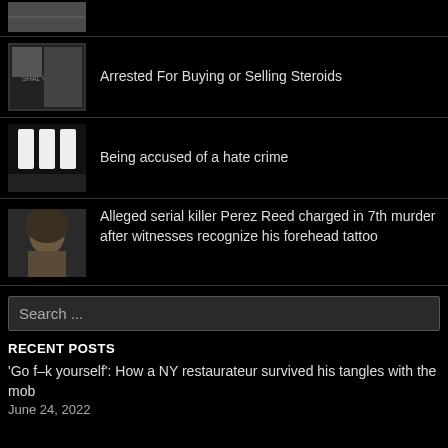[Figure (photo): Partial thumbnail image at top, cropped]
Arrested For Buying or Selling Steroids
Being accused of a hate crime
Alleged serial killer Perez Reed charged in 7th murder after witnesses recognize his forehead tattoo
Search ...
RECENT POSTS
'Go f–k yourself': How a NY restaurateur survived his tangles with the mob
June 24, 2022